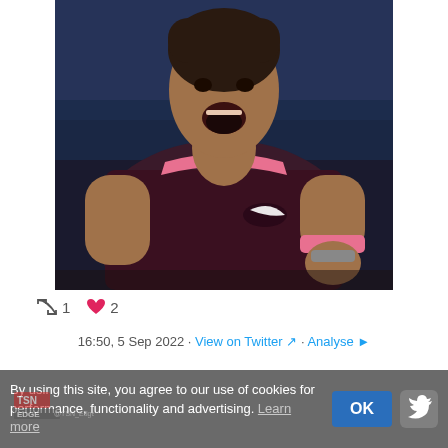[Figure (photo): Tennis player (Rafael Nadal) in a dark maroon Nike shirt celebrating on court, mouth open, fist raised, wearing pink wristband]
↺ 1   ♥ 2
16:50, 5 Sep 2022 · View on Twitter · Analyse
By using this site, you agree to our use of cookies for performance, functionality and advertising. Learn more